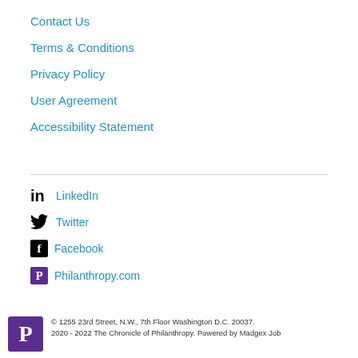Contact Us
Terms & Conditions
Privacy Policy
User Agreement
Accessibility Statement
LinkedIn
Twitter
Facebook
Philanthropy.com
© 1255 23rd Street, N.W., 7th Floor Washington D.C. 20037. 2020 - 2022 The Chronicle of Philanthropy. Powered by Madgex Job